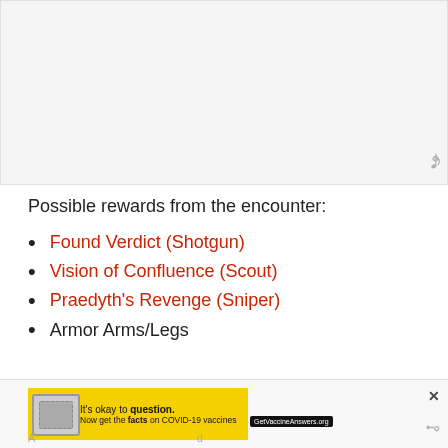[Figure (other): Screenshot or image area at top of page, light grey background]
Possible rewards from the encounter:
Found Verdict (Shotgun)
Vision of Confluence (Scout)
Praedyth’s Revenge (Sniper)
Armor Arms/Legs
Templar
[Figure (other): Advertisement banner: It’s okay to question. Now get the facts on COVID-19 vaccines. GetVaccineAnswers.org]